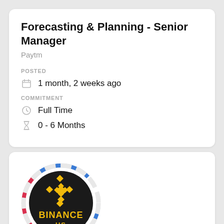Forecasting & Planning - Senior Manager
Paytm
POSTED
1 month, 2 weeks ago
COMMITMENT
Full Time
0 - 6 Months
[Figure (logo): Binance US logo: black circle with yellow Binance diamond logo and BINANCE US text, surrounded by blue and red dashed ring]